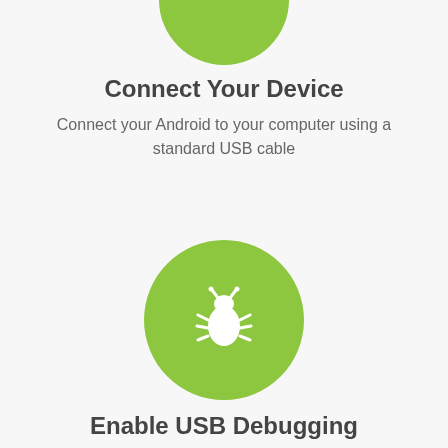[Figure (illustration): Green circle (partially visible at top) representing a step icon for connecting device]
Connect Your Device
Connect your Android to your computer using a standard USB cable
[Figure (illustration): Green circle with a white bug/debugging icon representing USB Debugging step]
Enable USB Debugging
Open 'Developer Options'